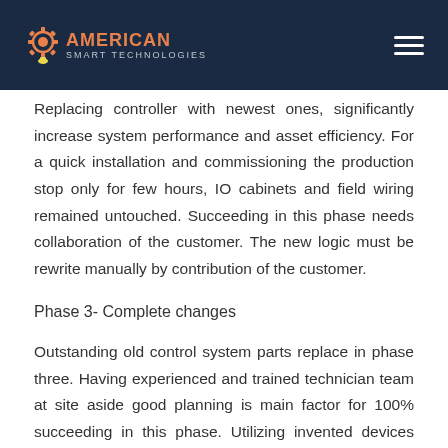American Smart Technologies
Replacing controller with newest ones, significantly increase system performance and asset efficiency. For a quick installation and commissioning the production stop only for few hours, IO cabinets and field wiring remained untouched. Succeeding in this phase needs collaboration of the customer. The new logic must be rewrite manually by contribution of the customer.
Phase 3- Complete changes
Outstanding old control system parts replace in phase three. Having experienced and trained technician team at site aside good planning is main factor for 100% succeeding in this phase. Utilizing invented devices and solutions for migration projects like as interface board for adopting old field terminal board IO and also new devices during installation and commissioning...